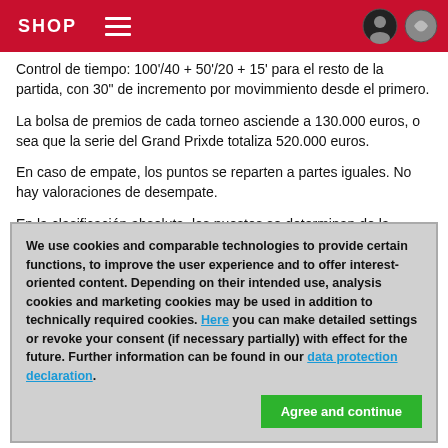SHOP
Control de tiempo: 100'/40 + 50'/20 + 15' para el resto de la partida, con 30" de incremento por movimmiento desde el primero.
La bolsa de premios de cada torneo asciende a 130.000 euros, o sea que la serie del Grand Prixde totaliza 520.000 euros.
En caso de empate, los puntos se reparten a partes iguales. No hay valoraciones de desempate.
En la clasificación absoluta, los puestos se determinan de la siguiente manera (en caso de empate a puntos):
We use cookies and comparable technologies to provide certain functions, to improve the user experience and to offer interest-oriented content. Depending on their intended use, analysis cookies and marketing cookies may be used in addition to technically required cookies. Here you can make detailed settings or revoke your consent (if necessary partially) with effect for the future. Further information can be found in our data protection declaration.